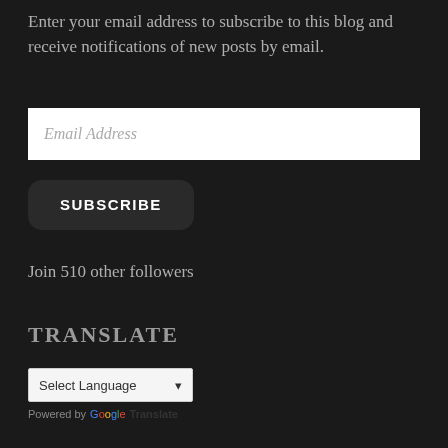Enter your email address to subscribe to this blog and receive notifications of new posts by email.
Email Address
SUBSCRIBE
Join 510 other followers
TRANSLATE
Select Language
Powered by Google Translate